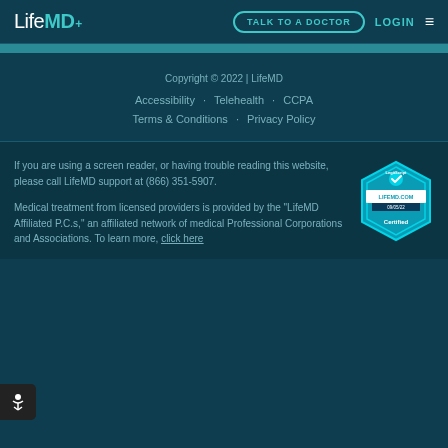LifeMD+ | TALK TO A DOCTOR | LOGIN
Copyright © 2022 | LifeMD
Accessibility · Telehealth · CCPA
Terms & Conditions · Privacy Policy
If you are using a screen reader, or having trouble reading this website, please call LifeMD support at (866) 351-5907.
[Figure (logo): LegitScript Certified badge for LIFEMD.COM, dated 09/05/22]
Medical treatment from licensed providers is provided by the "LifeMD Affiliated P.C.s," an affiliated network of medical Professional Corporations and Associations. To learn more, click here